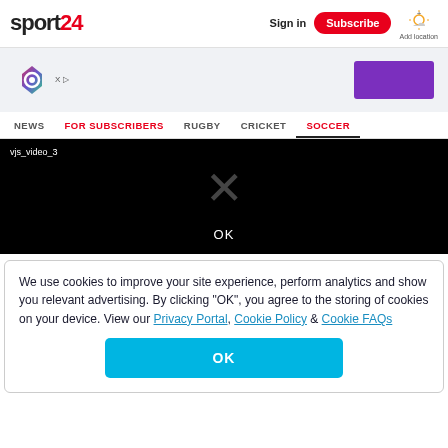sport24 — Sign in | Subscribe | Add location
[Figure (other): Advertisement banner with colorful logo icon and purple rectangle]
Navigation: NEWS | FOR SUBSCRIBERS | RUGBY | CRICKET | SOCCER
[Figure (screenshot): Black video player area with label vjs_video_3, large X icon, and OK text]
We use cookies to improve your site experience, perform analytics and show you relevant advertising. By clicking "OK", you agree to the storing of cookies on your device. View our Privacy Portal, Cookie Policy & Cookie FAQs